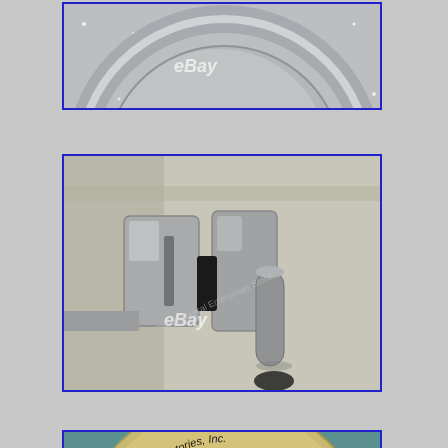[Figure (photo): Close-up photo of the rim/edge of a circular metal reflector or dish on a glittery/sparkly surface. eBay watermark visible. Blue border frame.]
[Figure (photo): Close-up photo of a metal clamp or hinge mechanism, silver/gray colored, with a cylindrical post and black element, against a beige background. eBay watermark visible. Blue border frame.]
[Figure (photo): Close-up photo of a circular metal label plate reading: Underwriters Laboratories, Inc. INSPECTED. PORTABLE LIGHTING UNIT FOR HAZARDOUS LOCATION. CLASS I GROUP C NO. [number]. EXPLOSION PROOF OPERATING LIGHT. MANUFACTURED BY WILMOT CASTLE CO. ROCHESTER, NEW YORK U.S.A. DISCONNECT CIRCUIT BEFORE RELAMPING. Instructions for relamping. Blue border frame.]